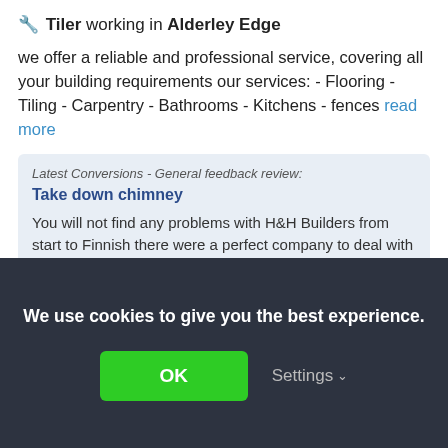🔧 Tiler working in Alderley Edge
we offer a reliable and professional service, covering all your building requirements our services: - Flooring - Tiling - Carpentry - Bathrooms - Kitchens - fences read more
Latest Conversions - General feedback review:
Take down chimney
You will not find any problems with H&H Builders from start to Finnish there were a perfect company to deal with I can strongly recommend this company .
By h47683 on 30th May, 2022
We use cookies to give you the best experience.
OK
Settings